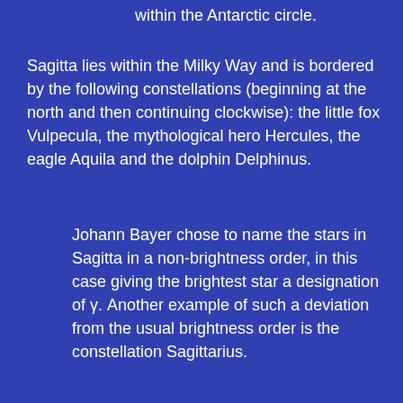within the Antarctic circle.
Sagitta lies within the Milky Way and is bordered by the following constellations (beginning at the north and then continuing clockwise): the little fox Vulpecula, the mythological hero Hercules, the eagle Aquila and the dolphin Delphinus.
Johann Bayer chose to name the stars in Sagitta in a non-brightness order, in this case giving the brightest star a designation of γ. Another example of such a deviation from the usual brightness order is the constellation Sagittarius.